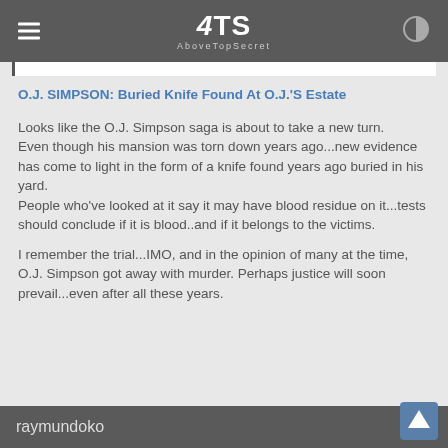4TS AboveTopSecret
O.J. SIMPSON: Buried Knife Found At O.J.'S Estate
Looks like the O.J. Simpson saga is about to take a new turn.
Even though his mansion was torn down years ago...new evidence has come to light in the form of a knife found years ago buried in his yard.
People who've looked at it say it may have blood residue on it...tests should conclude if it is blood..and if it belongs to the victims.
I remember the trial...IMO, and in the opinion of many at the time, O.J. Simpson got away with murder. Perhaps justice will soon prevail...even after all these years.
raymundoko